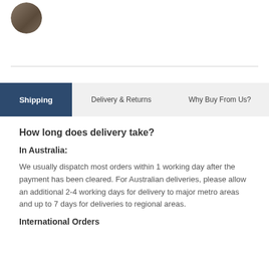[Figure (photo): Circular avatar photo of a person, cropped at top of page]
Shipping
Delivery & Returns
Why Buy From Us?
How long does delivery take?
In Australia:
We usually dispatch most orders within 1 working day after the payment has been cleared. For Australian deliveries, please allow an additional 2-4 working days for delivery to major metro areas and up to 7 days for deliveries to regional areas.
International Orders